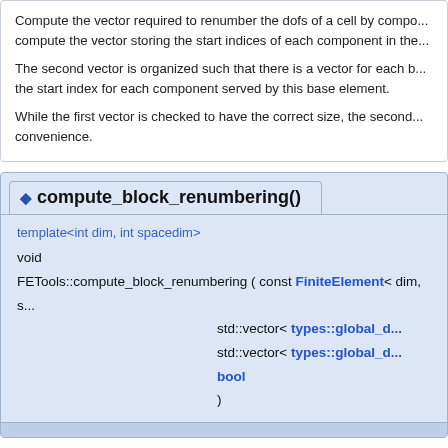Compute the vector required to renumber the dofs of a cell by compo... compute the vector storing the start indices of each component in the...
The second vector is organized such that there is a vector for each b... the start index for each component served by this base element.
While the first vector is checked to have the correct size, the second... convenience.
◆ compute_block_renumbering()
template<int dim, int spacedim>
void
FETools::compute_block_renumbering ( const FiniteElement< dim, s...
    std::vector< types::global_d...
    std::vector< types::global_d...
    bool
)